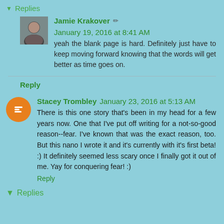Replies
Jamie Krakover  January 19, 2016 at 8:41 AM
yeah the blank page is hard. Definitely just have to keep moving forward knowing that the words will get better as time goes on.
Reply
Stacey Trombley  January 23, 2016 at 5:13 AM
There is this one story that's been in my head for a few years now. One that I've put off writing for a not-so-good reason--fear. I've known that was the exact reason, too. But this nano I wrote it and it's currently with it's first beta! :) It definitely seemed less scary once I finally got it out of me. Yay for conquering fear! :)
Reply
Replies